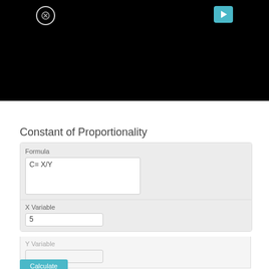[Figure (screenshot): Black video player area with X close button and teal play button]
Constant of Proportionality
Formula
C= X/Y
X Variable
5
Y Variable
Calculate